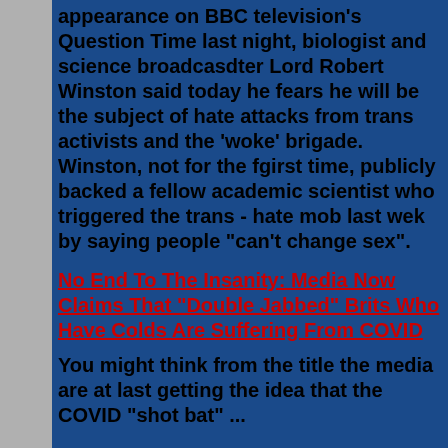appearance on BBC television's Question Time last night, biologist and science broadcasdter Lord Robert Winston said today he fears he will be the subject of hate attacks from trans activists and the 'woke' brigade. Winston, not for the fgirst time, publicly backed a fellow academic scientist who triggered the trans - hate mob last wek by saying people "can't change sex".
No End To The Insanity: Media Now Claims That "Double Jabbed" Brits Who Have Colds Are Suffering From COVID
You might think from the title the media are at last getting the idea that the COVID "shots" are ...